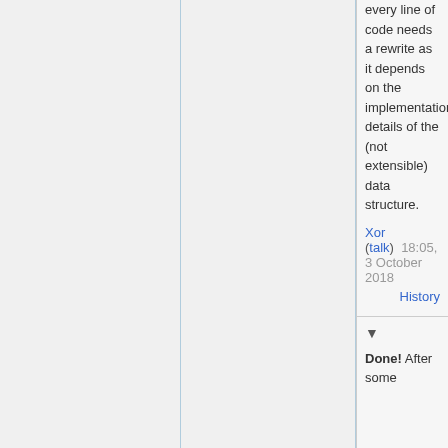every line of code needs a rewrite as it depends on the implementation details of the (not extensible) data structure.
Xor (talk) 18:05, 3 October 2018 History
Done! After some